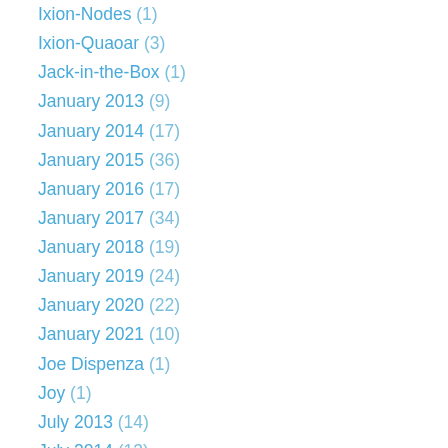Ixion-Nodes (1)
Ixion-Quaoar (3)
Jack-in-the-Box (1)
January 2013 (9)
January 2014 (17)
January 2015 (36)
January 2016 (17)
January 2017 (34)
January 2018 (19)
January 2019 (24)
January 2020 (22)
January 2021 (10)
Joe Dispenza (1)
Joy (1)
July 2013 (14)
July 2014 (13)
July 2015 (19)
July 2016 (18)
July 2017 (30)
July 2018 (33)